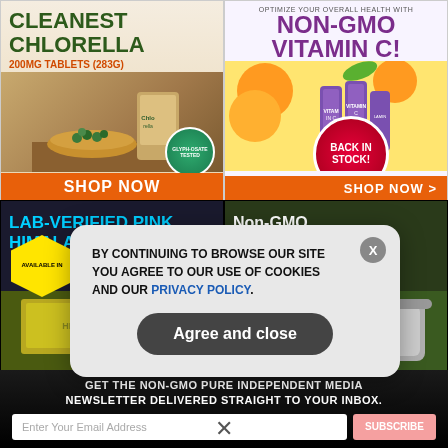[Figure (illustration): Ad for Cleanest Chlorella 200MG Tablets (283g) with SHOP NOW button, showing a bowl of green tablets and product bag]
[Figure (illustration): Ad for Non-GMO Vitamin C with BACK IN STOCK badge and SHOP NOW button, showing oranges and vitamin C bottles]
[Figure (illustration): Ad for Lab-Verified Pink Himalayan Salt with AVAILABLE IN badge and yellow-green product block]
[Figure (illustration): Ad for Non-GMO Buffered Vitamin C Powder with green background and product container]
GET THE NON-GMO PURE INDEPENDENT MEDIA NEWSLETTER DELIVERED STRAIGHT TO YOUR INBOX.
Enter Your Email Address
SUBSCRIBE
BY CONTINUING TO BROWSE OUR SITE YOU AGREE TO OUR USE OF COOKIES AND OUR PRIVACY POLICY.
Agree and close